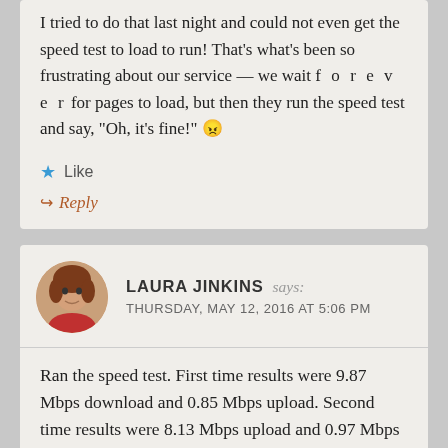I tried to do that last night and could not even get the speed test to load to run! That’s what’s been so frustrating about our service — we wait f o r e v e r for pages to load, but then they run the speed test and say, “Oh, it’s fine!” 😠
★ Like
↪ Reply
LAURA JINKINS says:
THURSDAY, MAY 12, 2016 AT 5:06 PM
Ran the speed test. First time results were 9.87 Mbps download and 0.85 Mbps upload. Second time results were 8.13 Mbps upload and 0.97 Mbps download. I think we are supposed to be getting 12 Mbps download… And when I clicked on your link to run the test, initially it took at least two minutes